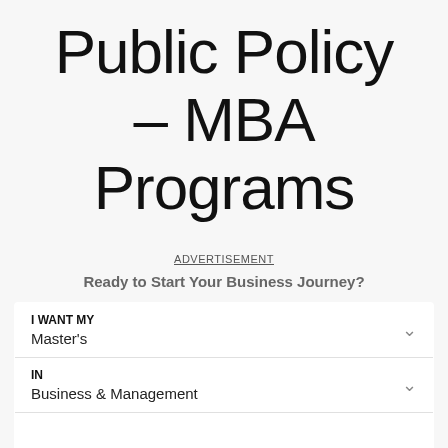Public Policy – MBA Programs
ADVERTISEMENT
Ready to Start Your Business Journey?
| I WANT MY | Master's |
| IN | Business & Management |